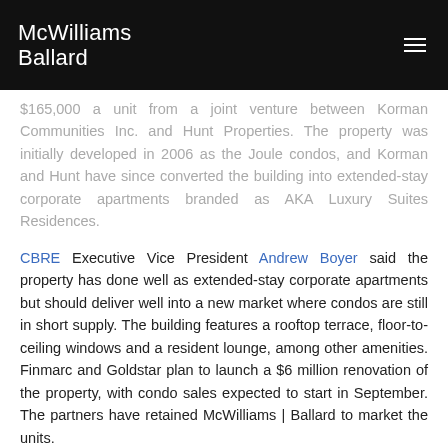McWilliams Ballard
$165,000 a unit from a joint venture between Korman Communities Inc. and Hunt Properties. The property was initially developed in 2006 as the Joule condos, and Korman and Hunt have since converted the building into extended-stay corporate apartments branded as AKA Luxury Suites Residences.
CBRE Executive Vice President Andrew Boyer said the property has done well as extended-stay corporate apartments but should deliver well into a new market where condos are still in short supply. The building features a rooftop terrace, floor-to-ceiling windows and a resident lounge, among other amenities. Finmarc and Goldstar plan to launch a $6 million renovation of the property, with condo sales expected to start in September. The partners have retained McWilliams | Ballard to market the units.
Korman set a record when it bought the property in